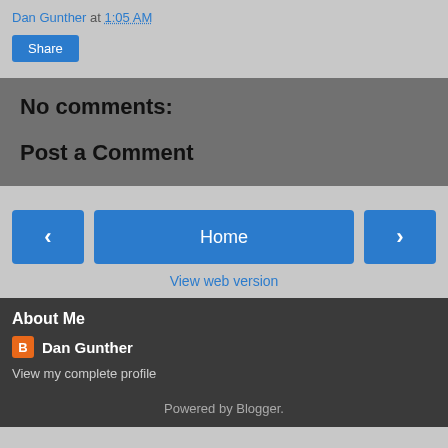Dan Gunther at 1:05 AM
Share
No comments:
Post a Comment
Home
View web version
About Me
Dan Gunther
View my complete profile
Powered by Blogger.